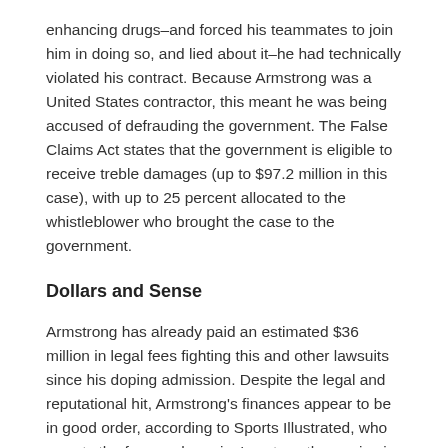enhancing drugs–and forced his teammates to join him in doing so, and lied about it–he had technically violated his contract. Because Armstrong was a United States contractor, this meant he was being accused of defrauding the government. The False Claims Act states that the government is eligible to receive treble damages (up to $97.2 million in this case), with up to 25 percent allocated to the whistleblower who brought the case to the government.
Dollars and Sense
Armstrong has already paid an estimated $36 million in legal fees fighting this and other lawsuits since his doping admission. Despite the legal and reputational hit, Armstrong's finances appear to be in good order, according to Sports Illustrated, who reports the former champion's net worth remains in the millions based on an investment